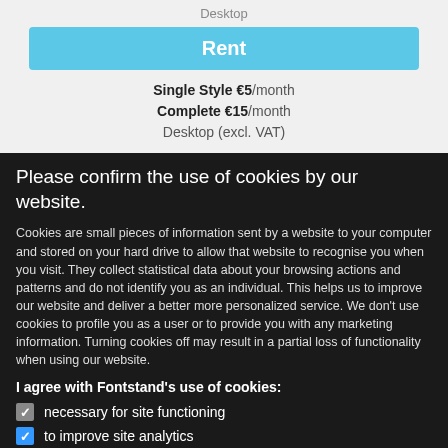Desktop
Rent
Single Style €5/month
Complete €15/month
Desktop (excl. VAT)
Please confirm the use of cookies by our website.
Cookies are small pieces of information sent by a website to your computer and stored on your hard drive to allow that website to recognise you when you visit. They collect statistical data about your browsing actions and patterns and do not identify you as an individual. This helps us to improve our website and deliver a better more personalized service. We don't use cookies to profile you as a user or to provide you with any marketing information. Turning cookies off may result in a partial loss of functionality when using our website.
I agree with Fontstand's use of cookies:
necessary for site functioning
to improve site analytics
to attribute the referral from external links
OK